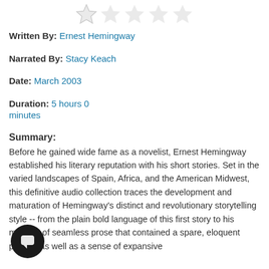[Figure (illustration): Five empty star rating icons in a row, light gray color]
Written By: Ernest Hemingway
Narrated By: Stacy Keach
Date: March 2003
Duration: 5 hours 0 minutes
Summary:
Before he gained wide fame as a novelist, Ernest Hemingway established his literary reputation with his short stories. Set in the varied landscapes of Spain, Africa, and the American Midwest, this definitive audio collection traces the development and maturation of Hemingway's distinct and revolutionary storytelling style -- from the plain bold language of this first story to his mastery of seamless prose that contained a spare, eloquent pathos, as well as a sense of expansive